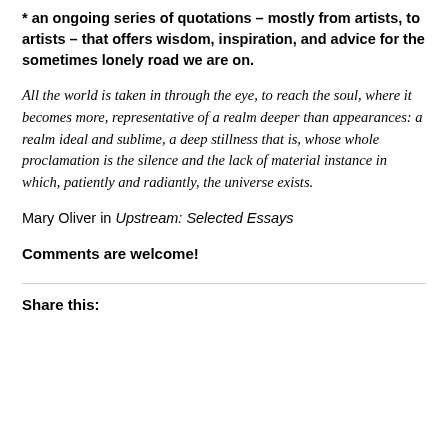* an ongoing series of quotations – mostly from artists, to artists – that offers wisdom, inspiration, and advice for the sometimes lonely road we are on.
All the world is taken in through the eye, to reach the soul, where it becomes more, representative of a realm deeper than appearances: a realm ideal and sublime, a deep stillness that is, whose whole proclamation is the silence and the lack of material instance in which, patiently and radiantly, the universe exists.
Mary Oliver in Upstream: Selected Essays
Comments are welcome!
Share this: